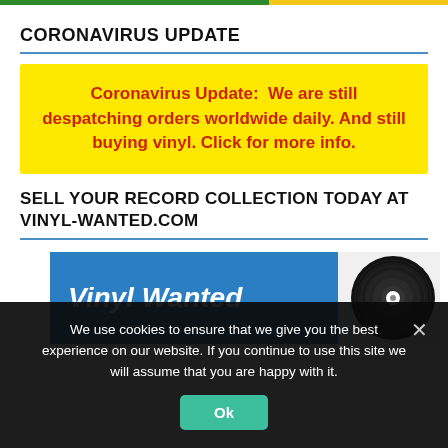CORONAVIRUS UPDATE
Coronavirus Update:  We are still despatching orders worldwide daily. And still buying vinyl. Click for more info.
SELL YOUR RECORD COLLECTION TODAY AT VINYL-WANTED.COM
[Figure (logo): Vinyl Wanted banner with blue background and vinyl record image on the right]
We use cookies to ensure that we give you the best experience on our website. If you continue to use this site we will assume that you are happy with it.